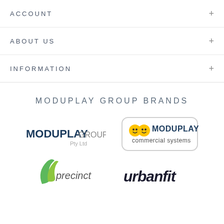ACCOUNT
ABOUT US
INFORMATION
MODUPLAY GROUP BRANDS
[Figure (logo): Moduplay Group Pty Ltd logo]
[Figure (logo): Moduplay commercial systems logo]
[Figure (logo): Precinct logo (green swoosh)]
[Figure (logo): UrbanFit logo in dark italic text]